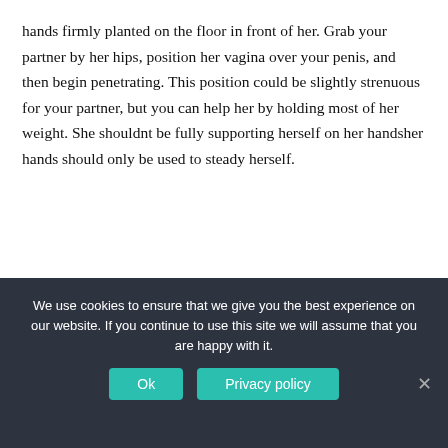hands firmly planted on the floor in front of her. Grab your partner by her hips, position her vagina over your penis, and then begin penetrating. This position could be slightly strenuous for your partner, but you can help her by holding most of her weight. She shouldnt be fully supporting herself on her handsher hands should only be used to steady herself.
[Figure (illustration): A flat-style illustration of two figures in an intimate position. One figure with dark hair lies horizontally, while a second figure with darker brown skin tone is positioned above, on a beige/cream background blob shape.]
We use cookies to ensure that we give you the best experience on our website. If you continue to use this site we will assume that you are happy with it.